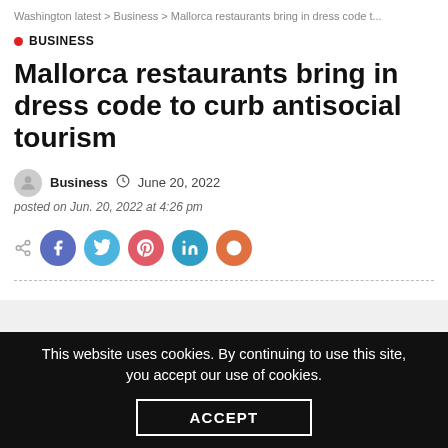Washington latest > Business > Mallorca restaurants bring in dress code t...
BUSINESS
Mallorca restaurants bring in dress code to curb antisocial tourism
Business  June 20, 2022
posted on Jun. 20, 2022 at 4:26 pm
[Figure (infographic): Social share buttons: share icon, Facebook, Twitter, Pinterest, LinkedIn, Reddit]
This website uses cookies. By continuing to use this site, you accept our use of cookies.
ACCEPT